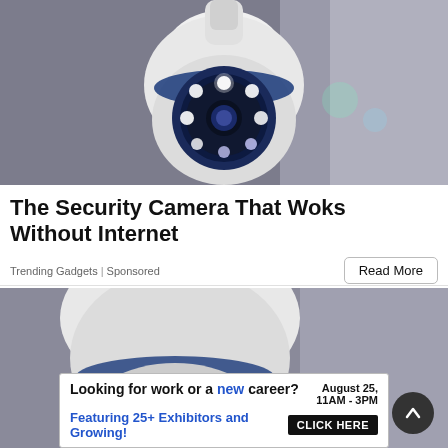[Figure (photo): Close-up photo of a white dome/bullet PTZ security camera mounted on a ceiling, with blue LED infrared lights glowing around the lens, on a grey background.]
The Security Camera That Woks Without Internet
Trending Gadgets | Sponsored
Read More
[Figure (photo): Second photo of the same white security camera, partially visible, mounted in a corner, with blue accent.]
Looking for work or a new career? August 25, 11AM - 3PM Featuring 25+ Exhibitors and Growing! CLICK HERE